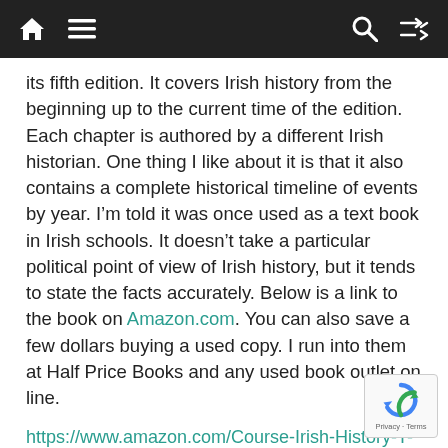[navigation bar with home, menu, search, shuffle icons]
its fifth edition.  It covers Irish history from the beginning up to the current time of the edition.  Each chapter is authored by a different Irish historian.  One thing I like about it is that it also contains a complete historical timeline of events by year. I’m told it was once used as a text book in Irish schools. It doesn’t take a particular political point of view of Irish history, but it tends to state the facts accurately.  Below is a link to the book on Amazon.com.  You can also save a few dollars buying a used copy.  I run into them at Half Price Books and any used book outlet on line.
https://www.amazon.com/Course-Irish-History-T-Moody/dp/1570984492
Also, I can recommend How the Irish Saved